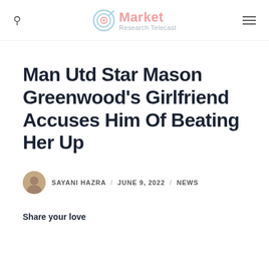Market Research Telecast
Man Utd Star Mason Greenwood's Girlfriend Accuses Him Of Beating Her Up
SAYANI HAZRA / JUNE 9, 2022 / NEWS
Share your love